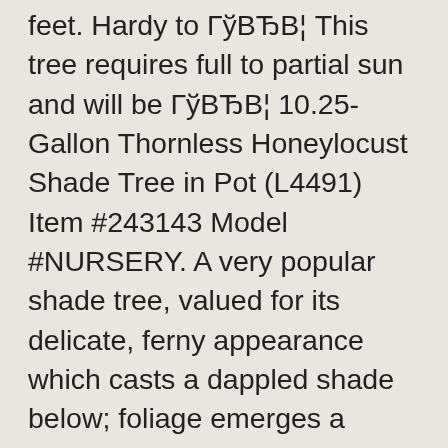feet. Hardy to ГўВЂВ¦ This tree requires full to partial sun and will be ГўВЂВ¦ 10.25-Gallon Thornless Honeylocust Shade Tree in Pot (L4491) Item #243143 Model #NURSERY. A very popular shade tree, valued for its delicate, ferny appearance which casts a dappled shade below; foliage emerges a brilliant yellow, fading to light green; broad spreading habit of growth, seedless, very tolerant of adverse growing conditions Shipping dates are subject to change. The Cherokees in Tennessee made bows from the tree's durable and strong wood. The light, dappled shade cast by the lacy foliage of this attractive tree is only one of its virtues. Online Orchards Honeylocust Tree Bare Root The Honey Locust tree from my days as a developer, make a great property barrier tree and provides good shade. I gave this some consideration and did decide to harvest some thornless honey locust seeds to plant in my property. ***Pre-sale (Will ship in fall) Height: 1-2' ***Thornless